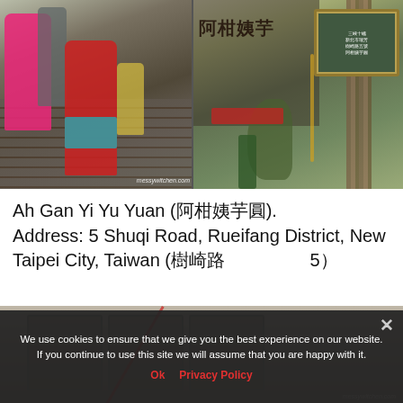[Figure (photo): Two photos side by side: left shows people walking down outdoor stairs, right shows entrance of Ah Gan Yi Yu Yuan restaurant with Chinese signage, plants, and a green sign board. Watermark: messywitchen.com]
Ah Gan Yi Yu Yuan (阿柑姨芋圓). Address: 5 Shuqi Road, Rueifang District, New Taipei City, Taiwan (樹崎路5號)
[Figure (photo): Partial photo of restaurant exterior, partially obscured by cookie consent overlay]
We use cookies to ensure that we give you the best experience on our website. If you continue to use this site we will assume that you are happy with it.
Ok   Privacy Policy